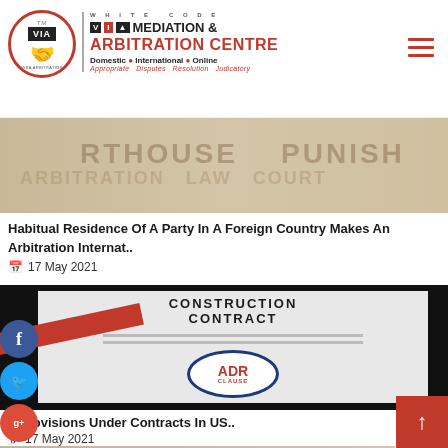[Figure (logo): White Code VIA Mediation & Arbitration Centre logo with circle emblem, VIA text boxes, and hamburger menu icon]
[Figure (photo): Courthouse/punish themed background image - article thumbnail]
Habitual Residence Of A Party In A Foreign Country Makes An Arbitration Internat..
17 May 2021
[Figure (photo): Construction Contract with ADR Clause circular stamp and red diagonal bar image]
R Provisions Under Contracts In US..
17 May 2021
[Figure (photo): Partial image showing legal word collage with ARBITRATION in red text at bottom]